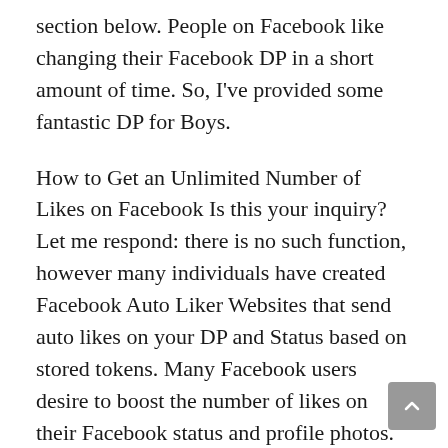section below. People on Facebook like changing their Facebook DP in a short amount of time. So, I've provided some fantastic DP for Boys.
How to Get an Unlimited Number of Likes on Facebook Is this your inquiry? Let me respond: there is no such function, however many individuals have created Facebook Auto Liker Websites that send auto likes on your DP and Status based on stored tokens. Many Facebook users desire to boost the number of likes on their Facebook status and profile photos. Most individuals contact their friends to like their profile photos in order to boost the number of likes on them. However, texting your pals to gain likes is too dull to work. As a result, we've chosen to share a great technique with our readers that will allow you to earn limitless auto-likes on Facebook.